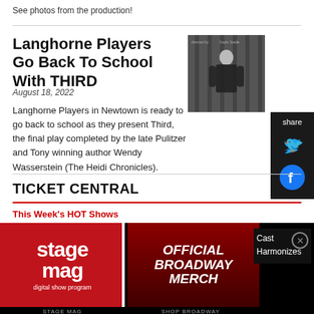See photos from the production!
Langhorne Players Go Back To School With THIRD
August 18, 2022
[Figure (photo): Production photo showing a person from behind against a dark background]
[Figure (infographic): Social share panel with Twitter and Facebook icons on dark background]
Langhorne Players in Newtown is ready to go back to school as they present Third, the final play completed by the late Pulitzer and Tony winning author Wendy Wasserstein (The Heidi Chronicles).
TICKET CENTRAL
This Week's HOT Shows
[Figure (logo): Stage Mag digital show program advertisement with red background]
[Figure (logo): Official Broadway Merch advertisement with dark red curtain background]
Cast Harmonizes
STAGE MAG   SHOP BROADWAY